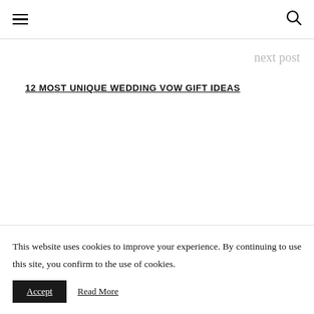☰  [search icon]
next post
12 MOST UNIQUE WEDDING VOW GIFT IDEAS
This website uses cookies to improve your experience. By continuing to use this site, you confirm to the use of cookies.
Accept   Read More